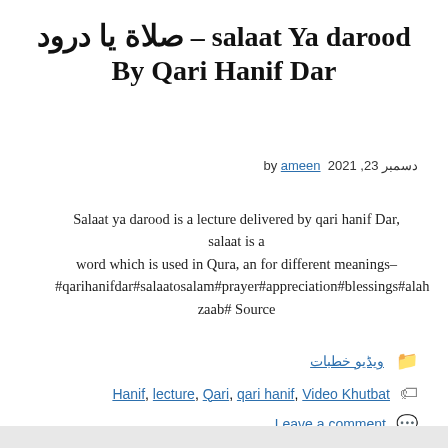صلاة یا درود - salaat Ya darood By Qari Hanif Dar
by ameen 23 دسمبر 2021
Salaat ya darood is a lecture delivered by qari hanif Dar, salaat is a word which is used in Qura, an for different meanings- #qarihanifdar#salaatosalam#prayer#appreciation#blessings#alah zaab# Source
ویڈیو خطبات
Hanif, lecture, Qari, qari hanif, Video Khutbat
Leave a comment